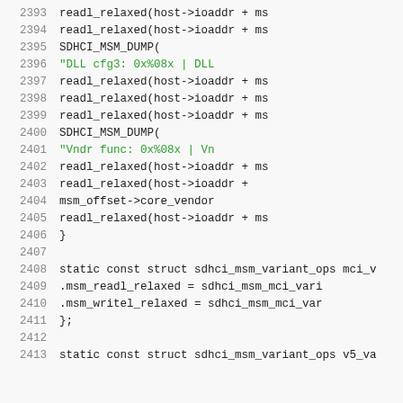[Figure (screenshot): Source code listing showing lines 2393-2413 of a C file with SDHCI MSM driver code. Line numbers on left, code in monospace font on dark background. Contains readl_relaxed calls, SDHCI_MSM_DUMP macros, string literals in green, and struct definitions.]